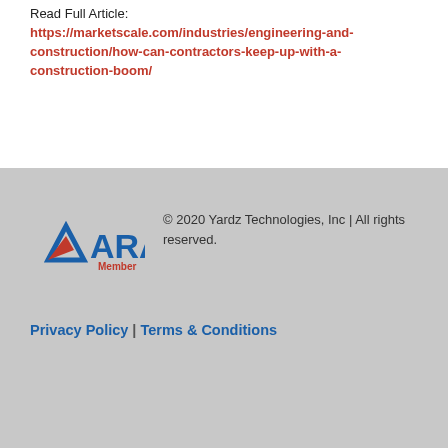Read Full Article:
https://marketscale.com/industries/engineering-and-construction/how-can-contractors-keep-up-with-a-construction-boom/
[Figure (logo): ARA Member logo — triangle icon with red and blue ARA text and red Member text below]
© 2020 Yardz Technologies, Inc | All rights reserved.
Privacy Policy | Terms & Conditions